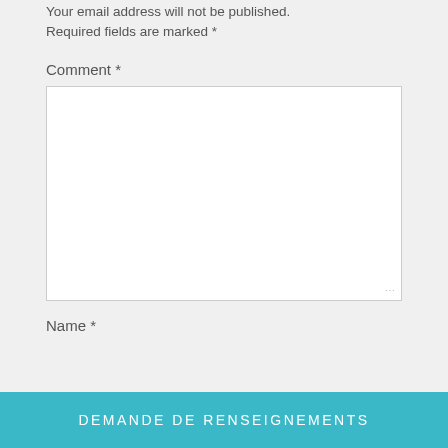Your email address will not be published. Required fields are marked *
Comment *
[comment text area]
Name *
DEMANDE DE RENSEIGNEMENTS